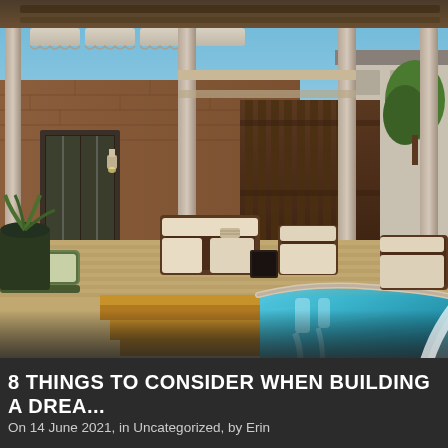[Figure (photo): Photograph of a luxurious backyard deck with pergola/covered patio structure, wicker outdoor furniture with cream cushions, wooden decking with curved edge near a sparkling blue swimming pool with water feature cascade, brick house in background, sunny daytime scene.]
8 THINGS TO CONSIDER WHEN BUILDING A DREA...
On 14 June 2021, in Uncategorized, by Erin